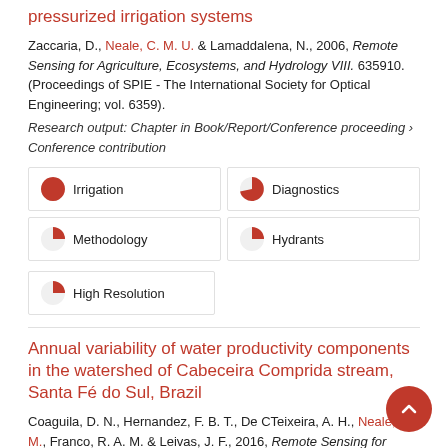pressurized irrigation systems
Zaccaria, D., Neale, C. M. U. & Lamaddalena, N., 2006, Remote Sensing for Agriculture, Ecosystems, and Hydrology VIII. 635910. (Proceedings of SPIE - The International Society for Optical Engineering; vol. 6359).
Research output: Chapter in Book/Report/Conference proceeding › Conference contribution
Irrigation (100%)
Diagnostics (75%)
Methodology (50%)
Hydrants (50%)
High Resolution (50%)
Annual variability of water productivity components in the watershed of Cabeceira Comprida stream, Santa Fé do Sul, Brazil
Coaguila, D. N., Hernandez, F. B. T., De CTeixeira, A. H., Neale, C. M., Franco, R. A. M. & Leivas, J. F., 2016, Remote Sensing for Agriculture, Ecosystems, and Hydrology XVIII. Neale, C. M. & Maltese, A. (eds.). SPIE, 99981E. (Proceedings of SPIE - The